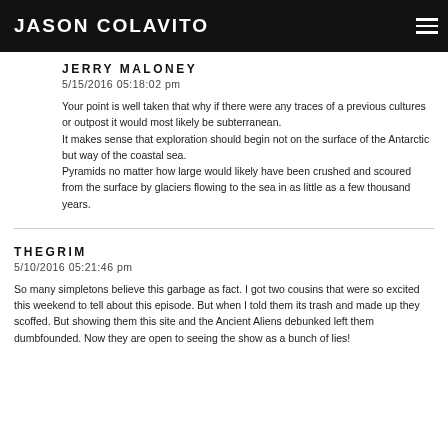JASON COLAVITO
JERRY MALONEY
5/15/2016 05:18:02 pm
Your point is well taken that why if there were any traces of a previous cultures or outpost it would most likely be subterranean.
It makes sense that exploration should begin not on the surface of the Antarctic but way of the coastal sea.
Pyramids no matter how large would likely have been crushed and scoured from the surface by glaciers flowing to the sea in as little as a few thousand years.
THEGRIM
5/10/2016 05:21:46 pm
So many simpletons believe this garbage as fact. I got two cousins that were so excited this weekend to tell about this episode. But when I told them its trash and made up they scoffed. But showing them this site and the Ancient Aliens debunked left them dumbfounded. Now they are open to seeing the show as a bunch of lies!